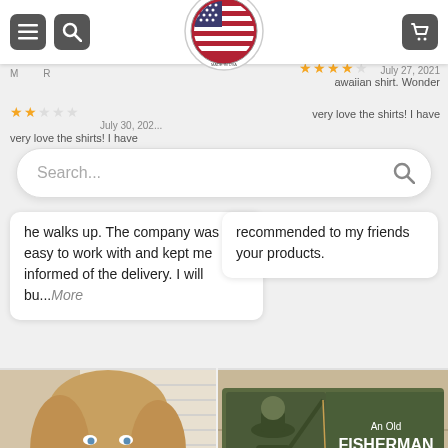[Figure (screenshot): Mobile e-commerce website screenshot showing navigation bar with hamburger menu, search icon, American flag logo, and cart icon; search bar; customer review cards with star ratings; and product photos including a woman holding dogs and a personalized fishing doormat]
he walks up. The company was easy to work with and kept me informed of the delivery. I will bu...More
recommended to my friends your products.
[Figure (photo): Woman holding two Shetland Sheepdogs (Shelties) close to her face, smiling]
[Figure (photo): Personalized doormat reading: An Old FISHERMAN And The BEST CATCH Of His Life Live Here - RAY & KAREN, placed on tile floor]